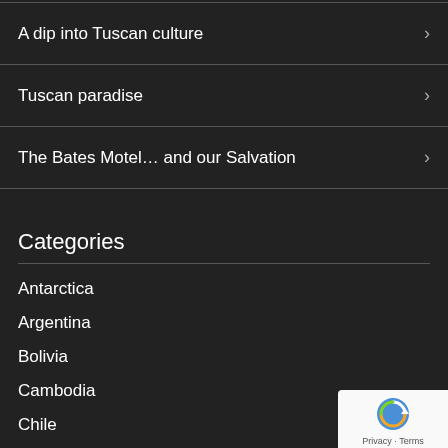A dip into Tuscan culture
Tuscan paradise
The Bates Motel… and our Salvation
Categories
Antarctica
Argentina
Bolivia
Cambodia
Chile
France
India